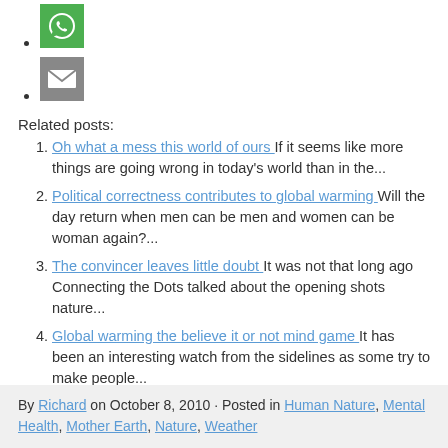[WhatsApp icon]
[Email icon]
Related posts:
Oh what a mess this world of ours If it seems like more things are going wrong in today's world than in the...
Political correctness contributes to global warming Will the day return when men can be men and women can be woman again?...
The convincer leaves little doubt It was not that long ago Connecting the Dots talked about the opening shots nature...
Global warming the believe it or not mind game It has been an interesting watch from the sidelines as some try to make people...
Sudden global climate change expected Part 1 The last chance global warming summit for the most part was a failure. And listening...
By Richard on October 8, 2010 · Posted in Human Nature, Mental Health, Mother Earth, Nature, Weather